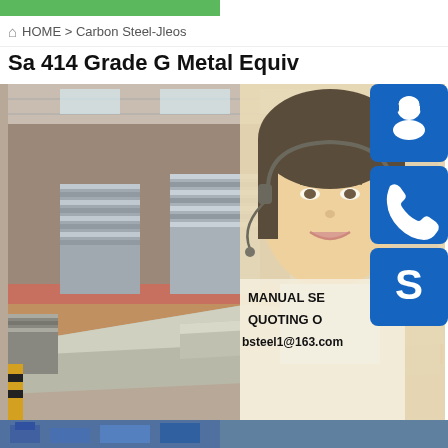HOME > Carbon Steel-Jleos
Sa 414 Grade G Metal Equiv
[Figure (photo): Warehouse interior showing stacked metal/steel plates on the floor with industrial shelving, and in the foreground large steel sheets laid flat. Overlaid on the right side is a customer service representative (Asian woman with headset, smiling) and three blue rounded icon boxes: a headset/person icon, a phone icon, and an 'S' (Skype) icon. Text overlay reads: MANUAL SE, QUOTING O, bsteel1@163.com]
[Figure (photo): Partial view of another industrial/warehouse or manufacturing scene at the bottom of the page]